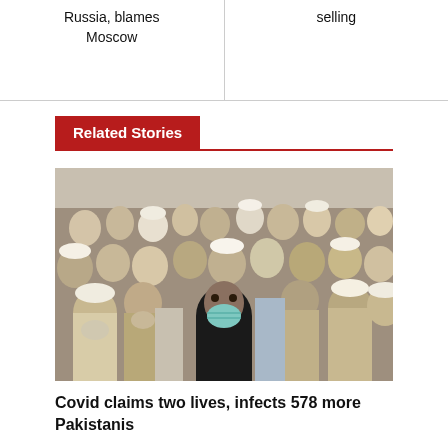Russia, blames Moscow
selling
Related Stories
[Figure (photo): A large crowd of Pakistani men, one person in foreground wearing a black outfit and blue face mask amid the crowd]
Covid claims two lives, infects 578 more Pakistanis